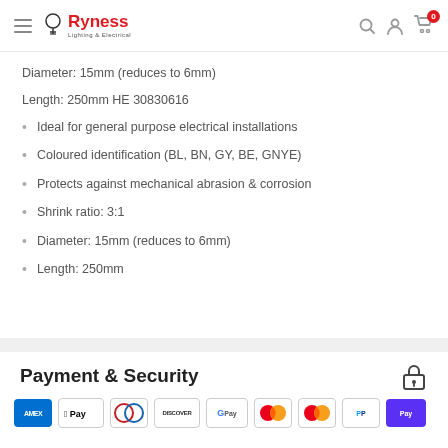Ryness Lighting & Electrical
Diameter: 15mm (reduces to 6mm)
Length: 250mm HE 30830616
Ideal for general purpose electrical installations
Coloured identification (BL, BN, GY, BE, GNYE)
Protects against mechanical abrasion & corrosion
Shrink ratio: 3:1
Diameter: 15mm (reduces to 6mm)
Length: 250mm
Payment & Security